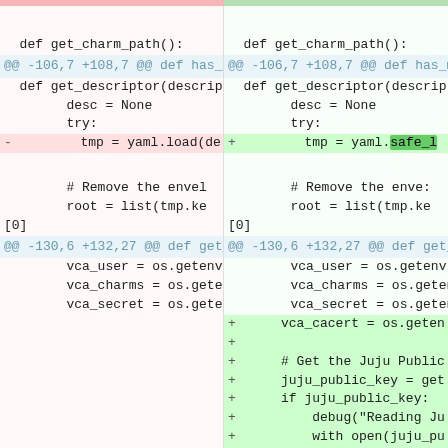[Figure (screenshot): A side-by-side code diff view showing two columns: the left (old/removed) and right (new/added) versions of Python source code. The diff shows changes including replacement of yaml.load with yaml.safe_load and addition of new lines for vca_cacert, juju_public_key, and related code in a get_n2vc function.]